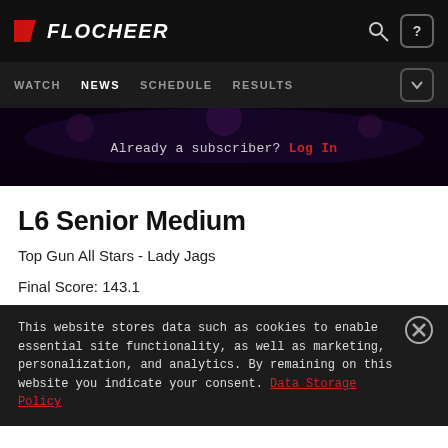FLOCHEER — WATCH | NEWS | SCHEDULE | RESULTS
[Figure (screenshot): Dark hero image of a cheerleading crowd scene with subscriber login prompt]
Already a subscriber? Log In
L6 Senior Medium
Top Gun All Stars - Lady Jags
Final Score: 143.1
This website stores data such as cookies to enable essential site functionality, as well as marketing, personalization, and analytics. By remaining on this website you indicate your consent. Data Storage Policy